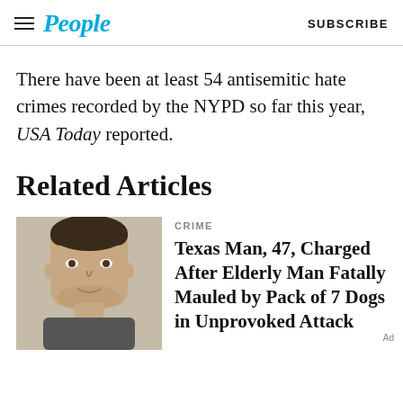People | SUBSCRIBE
There have been at least 54 antisemitic hate crimes recorded by the NYPD so far this year, USA Today reported.
Related Articles
[Figure (photo): Mugshot of a middle-aged man with dark hair wearing a grey shirt]
CRIME
Texas Man, 47, Charged After Elderly Man Fatally Mauled by Pack of 7 Dogs in Unprovoked Attack